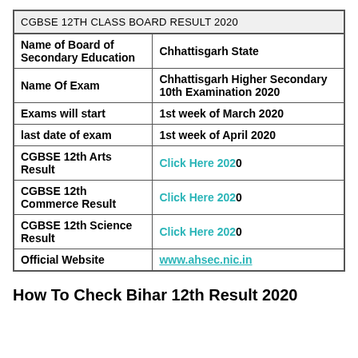| CGBSE 12TH CLASS BOARD RESULT 2020 |
| --- |
| Name of Board of Secondary Education | Chhattisgarh State |
| Name Of Exam | Chhattisgarh Higher Secondary 10th Examination 2020 |
| Exams will start | 1st week of March 2020 |
| last date of exam | 1st week of April 2020 |
| CGBSE 12th Arts Result | Click Here 2020 |
| CGBSE 12th Commerce Result | Click Here 2020 |
| CGBSE 12th Science Result | Click Here 2020 |
| Official Website | www.ahsec.nic.in |
How To Check Bihar 12th Result 2020